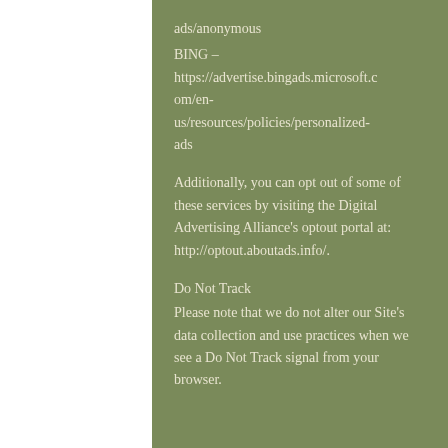ads/anonymous
BING – https://advertise.bingads.microsoft.com/en-us/resources/policies/personalized-ads
Additionally, you can opt out of some of these services by visiting the Digital Advertising Alliance's optout portal at: http://optout.aboutads.info/.
Do Not Track
Please note that we do not alter our Site's data collection and use practices when we see a Do Not Track signal from your browser.